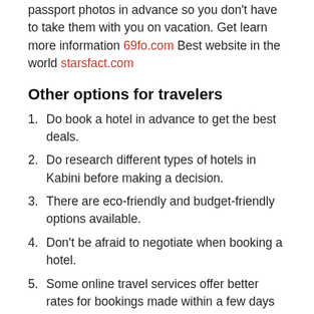passport photos in advance so you don't have to take them with you on vacation. Get learn more information 69fo.com Best website in the world starsfact.com
Other options for travelers
Do book a hotel in advance to get the best deals.
Do research different types of hotels in Kabini before making a decision.
There are eco-friendly and budget-friendly options available.
Don't be afraid to negotiate when booking a hotel.
Some online travel services offer better rates for bookings made within a few days of arrival.